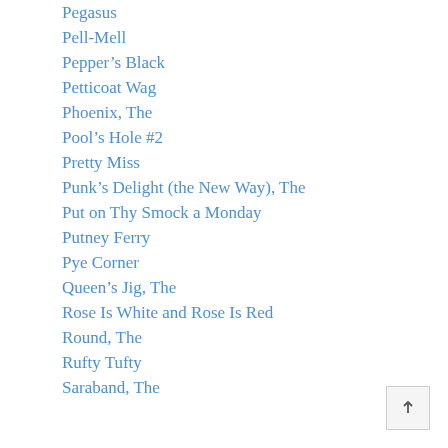Pegasus
Pell-Mell
Pepper's Black
Petticoat Wag
Phoenix, The
Pool's Hole #2
Pretty Miss
Punk's Delight (the New Way), The
Put on Thy Smock a Monday
Putney Ferry
Pye Corner
Queen's Jig, The
Rose Is White and Rose Is Red
Round, The
Rufty Tufty
Saraband, The